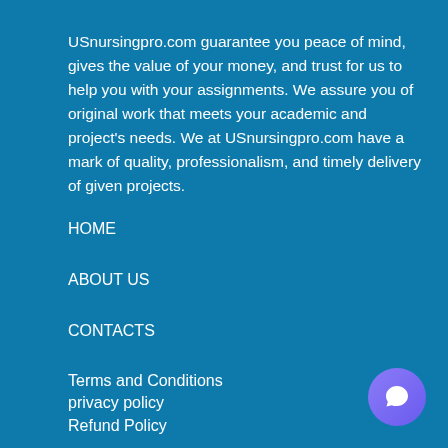USnursingpro.com guarantee you peace of mind, gives the value of your money, and trust for us to help you with your assignments. We assure you of original work that meets your academic and project's needs. We at USnursingpro.com have a mark of quality, professionalism, and timely delivery of given projects.
HOME
ABOUT US
CONTACTS
Terms and Conditions
privacy policy
Refund Policy